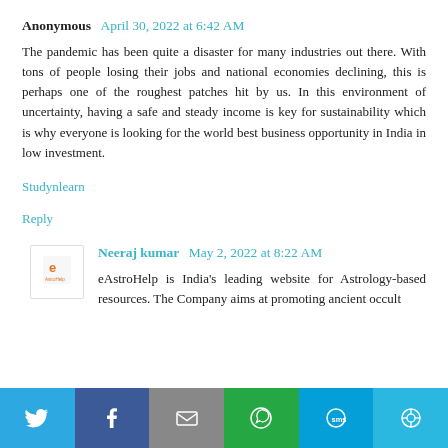Anonymous  April 30, 2022 at 6:42 AM
The pandemic has been quite a disaster for many industries out there. With tons of people losing their jobs and national economies declining, this is perhaps one of the roughest patches hit by us. In this environment of uncertainty, having a safe and steady income is key for sustainability which is why everyone is looking for the world best business opportunity in India in low investment.
Studynlearn
Reply
Neeraj kumar  May 2, 2022 at 8:22 AM
eAstroHelp is India's leading website for Astrology-based resources. The Company aims at promoting ancient occult